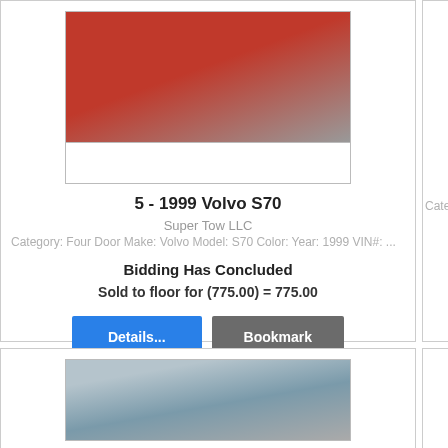[Figure (photo): Red Volvo S70 car photo, front view]
5 - 1999 Volvo S70
Super Tow LLC
Category: Four Door Make: Volvo Model: S70 Color: Year: 1999 VIN#: ...
Bidding Has Concluded
Sold to floor for (775.00) = 775.00
Details...
Bookmark
[Figure (photo): Silver/gray car in a parking lot with multiple cars, bottom card photo]
Category: Fo...